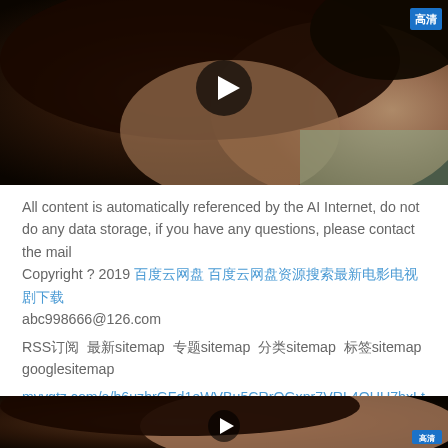[Figure (screenshot): Video thumbnail showing a person lying down with a play button overlay and HD badge in the top right corner]
All content is automatically referenced by the AI Internet, do not do any data storage, if you have any questions, please contact the mail
Copyright ? 2019 [Chinese characters] [Chinese characters] abc998666@126.com
RSS订阅 最新sitemap 专题sitemap 分类sitemap 标签sitemap googlesitemap
myygtz.com/a/h6uzhrGFd1eWVBu5CRrQGxnr7VRL4OUU7bxLttw/
PERSONA 3 [Chinese] [Chinese]
[Figure (screenshot): Partial video thumbnail at the bottom showing a person's face]